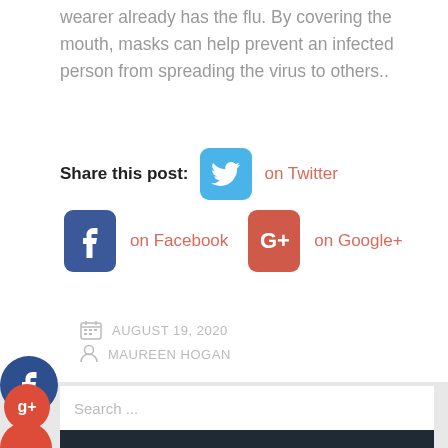wearer already has the flu. By covering the mouth, masks can help prevent an infected person from spreading the virus to others..
Share this post: on Twitter  on Facebook  on Google+
AUGUST 19, 2020
MAUREEN HOGAN
Search ...
SEARCH